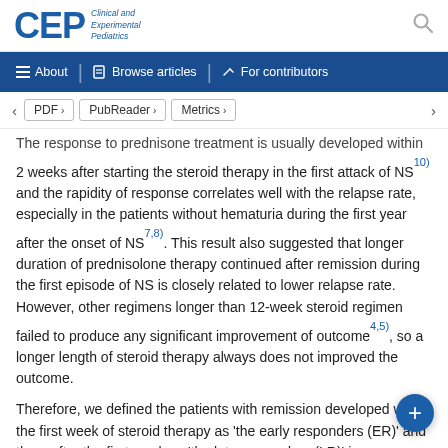CEP Clinical and Experimental Pediatrics
About | Browse articles | For contributors
PDF > | PubReader > | Metrics >
The response to prednisone treatment is usually developed within 2 weeks after starting the steroid therapy in the first attack of NS10) and the rapidity of response correlates well with the relapse rate, especially in the patients without hematuria during the first year after the onset of NS7,8). This result also suggested that longer duration of prednisolone therapy continued after remission during the first episode of NS is closely related to lower relapse rate. However, other regimens longer than 12-week steroid regimen failed to produce any significant improvement of outcome4,5), so a longer length of steroid therapy always does not improved the outcome.
Therefore, we defined the patients with remission developed within the first week of steroid therapy as 'the early responders (ER)' and them after the first week as 'the late responders (LR)' in